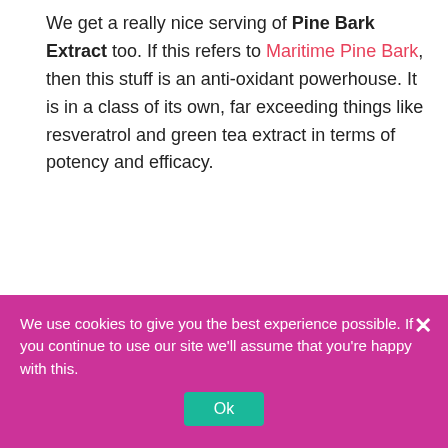We get a really nice serving of Pine Bark Extract too. If this refers to Maritime Pine Bark, then this stuff is an anti-oxidant powerhouse. It is in a class of its own, far exceeding things like resveratrol and green tea extract in terms of potency and efficacy.
-Meditation & Cognitive Function: More Powerful Than You Realized-
We use cookies to give you the best experience possible. If you continue to use our site we'll assume that you're happy with this.